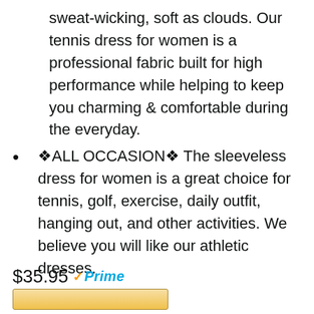sweat-wicking, soft as clouds. Our tennis dress for women is a professional fabric built for high performance while helping to keep you charming & comfortable during the everyday.
🔶ALL OCCASION🔷 The sleeveless dress for women is a great choice for tennis, golf, exercise, daily outfit, hanging out, and other activities. We believe you will like our athletic dresses.
$35.95 Prime